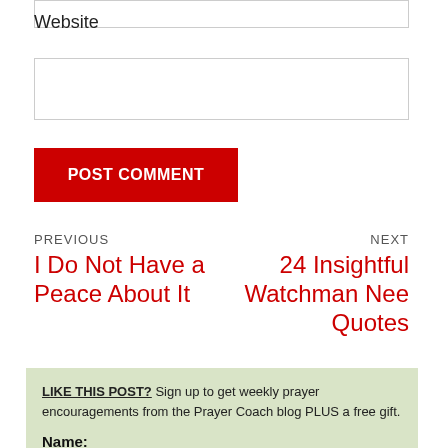[Figure (other): Empty input box at top (partial, cropped)]
Website
[Figure (other): Website text input box]
POST COMMENT
PREVIOUS
NEXT
I Do Not Have a Peace About It
24 Insightful Watchman Nee Quotes
LIKE THIS POST? Sign up to get weekly prayer encouragements from the Prayer Coach blog PLUS a free gift.
Name:
[Figure (other): Name text input box]